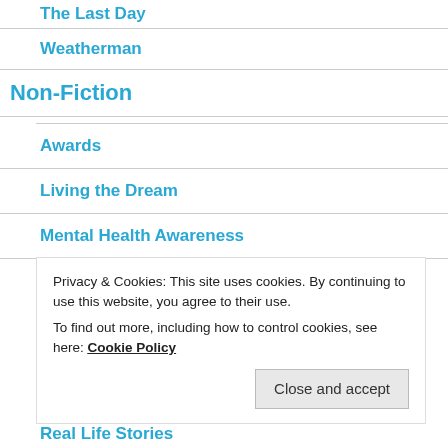The Last Day
Weatherman
Non-Fiction
Awards
Living the Dream
Mental Health Awareness
Mixcloud
Privacy & Cookies: This site uses cookies. By continuing to use this website, you agree to their use.
To find out more, including how to control cookies, see here: Cookie Policy
Real Life Stories